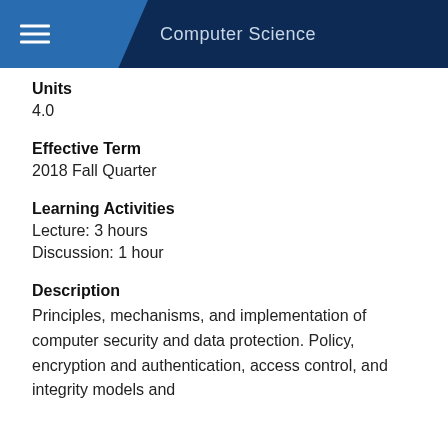Computer Science
Units
4.0
Effective Term
2018 Fall Quarter
Learning Activities
Lecture: 3 hours
Discussion: 1 hour
Description
Principles, mechanisms, and implementation of computer security and data protection. Policy, encryption and authentication, access control, and integrity models and